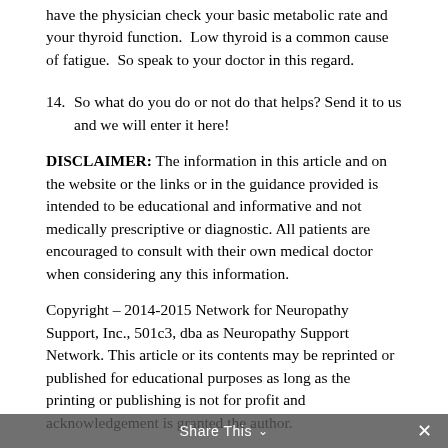have the physician check your basic metabolic rate and your thyroid function. Low thyroid is a common cause of fatigue. So speak to your doctor in this regard.
14. So what do you do or not do that helps? Send it to us and we will enter it here!
DISCLAIMER: The information in this article and on the website or the links or in the guidance provided is intended to be educational and informative and not medically prescriptive or diagnostic. All patients are encouraged to consult with their own medical doctor when considering any this information.
Copyright – 2014-2015 Network for Neuropathy Support, Inc., 501c3, dba as Neuropathy Support Network. This article or its contents may be reprinted or published for educational purposes as long as the printing or publishing is not for profit and acknowledgement is granted the author.
Share This ∨  ✕